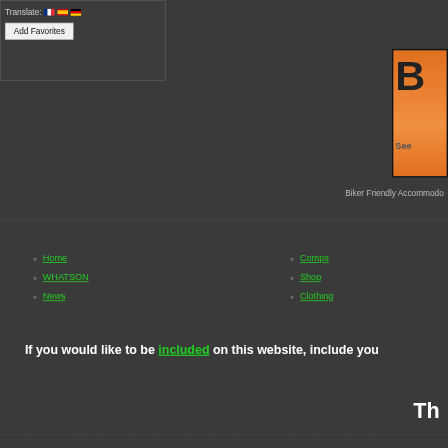[Figure (screenshot): Top-left dark box with Translate label, French/Spanish/German flag icons, and Add Favorites button]
[Figure (logo): Top-right orange/black box partially visible with large letter B and text 'See']
Biker Friendly Accommodo
Home
WHATSON
News
Comps
Shop
Clothing
If you would like to be included on this website, include you
Th